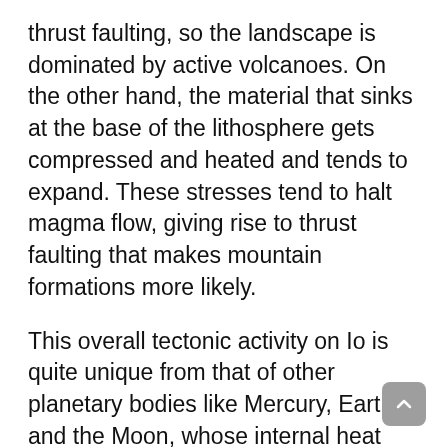thrust faulting, so the landscape is dominated by active volcanoes. On the other hand, the material that sinks at the base of the lithosphere gets compressed and heated and tends to expand. These stresses tend to halt magma flow, giving rise to thrust faulting that makes mountain formations more likely.
This overall tectonic activity on Io is quite unique from that of other planetary bodies like Mercury, Earth, and the Moon, whose internal heat source is the result of radioactive decay, contrary to Io's which is caused by tidal heating. In addition, faults on Earth are much shallower in depth and can be found on a global scale, whereas on Io they are very deep and occur locally, resulting in very different mountain forming processes. "Faulting on Earth usually occurs in the